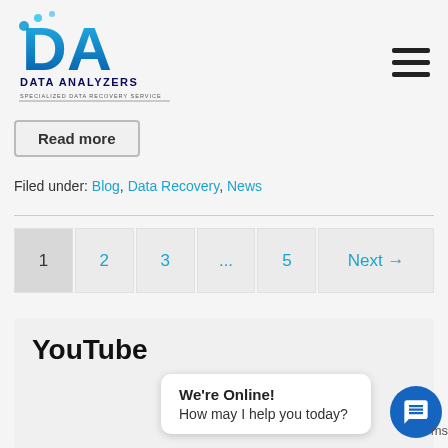[Figure (logo): Data Analyzers logo with stylized DA letters in blue and text 'DATA ANALYZERS - Specialized Data Recovery Service']
Read more
Filed under: Blog, Data Recovery, News
1  2  3  ...  5  Next →
YouTube
We're Online! How may I help you today?